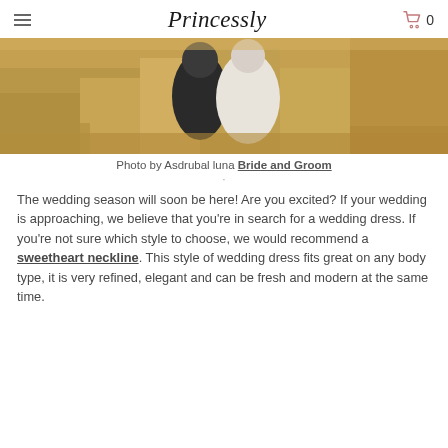Princessly
[Figure (photo): Photo of a bride and groom outdoors in a dry grassy field, partially visible from the chest up. The bride is in white and the groom in dark clothing.]
Photo by Asdrubal luna Bride and Groom
The wedding season will soon be here! Are you excited? If your wedding is approaching, we believe that you're in search for a wedding dress. If you're not sure which style to choose, we would recommend a sweetheart neckline. This style of wedding dress fits great on any body type, it is very refined, elegant and can be fresh and modern at the same time.